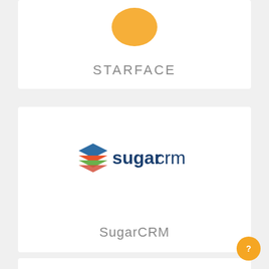[Figure (logo): STARFACE logo card, partially visible at top]
STARFACE
[Figure (logo): SugarCRM logo with stacked colored layers icon and sugarcrm wordmark in blue and orange]
SugarCRM